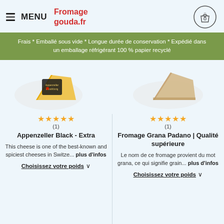≡ MENU  Fromage gouda.fr
Frais * Emballé sous vide * Longue durée de conservation * Expédié dans un emballage réfrigérant 100 % papier recyclé
[Figure (photo): Photo of Appenzeller Black Extra cheese wedge with dark label on white plate background]
[Figure (photo): Photo of Grana Padano cheese wedge on white background]
★★★★★ (1) Appenzeller Black - Extra
This cheese is one of the best-known and spiciest cheeses in Switze... plus d'infos
Choisissez votre poids ∨
★★★★★ (1) Fromage Grana Padano | Qualité supérieure
Le nom de ce fromage provient du mot grana, ce qui signifie grain... plus d'infos
Choisissez votre poids ∨